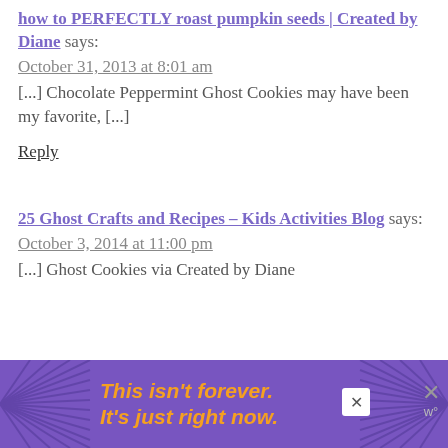how to PERFECTLY roast pumpkin seeds | Created by Diane says:
October 31, 2013 at 8:01 am
[...] Chocolate Peppermint Ghost Cookies may have been my favorite, [...]
Reply
25 Ghost Crafts and Recipes – Kids Activities Blog says:
October 3, 2014 at 11:00 pm
[...] Ghost Cookies via Created by Diane
[Figure (other): Purple advertisement banner reading 'This isn't forever. It's just right now.' with close buttons]